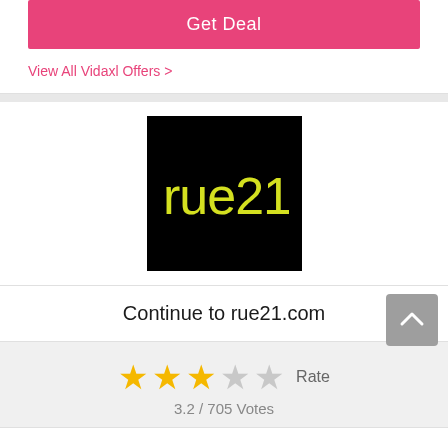Get Deal
View All Vidaxl Offers >
[Figure (logo): rue21 logo — white/yellow stylized text 'rue21.' on black square background]
Continue to rue21.com
★★★☆☆ Rate
3.2 / 705 Votes